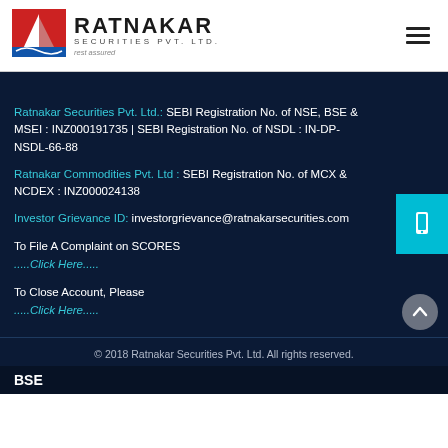[Figure (logo): Ratnakar Securities Pvt. Ltd. logo with sailboat icon and tagline 'rest assured']
Ratnakar Securities Pvt. Ltd.: SEBI Registration No. of NSE, BSE & MSEI : INZ000191735 | SEBI Registration No. of NSDL : IN-DP-NSDL-66-88
Ratnakar Commodities Pvt. Ltd : SEBI Registration No. of MCX & NCDEX : INZ000024138
Investor Grievance ID: investorgrievance@ratnakarsecurities.com
To File A Complaint on SCORES .....Click Here.....
To Close Account, Please .....Click Here.....
© 2018 Ratnakar Securities Pvt. Ltd. All rights reserved.
BSE